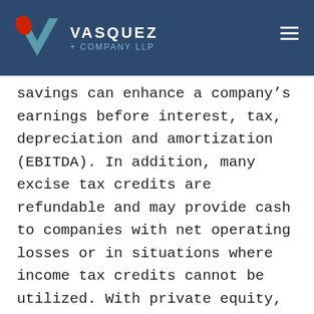VASQUEZ + COMPANY LLP
savings can enhance a company’s earnings before interest, tax, depreciation and amortization (EBITDA). In addition, many excise tax credits are refundable and may provide cash to companies with net operating losses or in situations where income tax credits cannot be utilized. With private equity, identifying ways to reduce excise tax or increase credits for operating companies can increase margins across similarly situated companies in the fund.